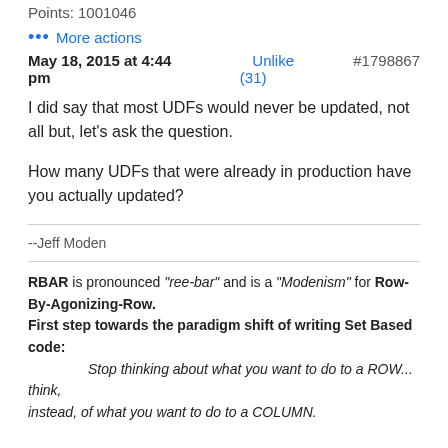Points: 1001046
... More actions
May 18, 2015 at 4:44 pm    Unlike (31)    #1798867
I did say that most UDFs would never be updated, not all but, let's ask the question.
How many UDFs that were already in production have you actually updated?
--Jeff Moden
RBAR is pronounced "ree-bar" and is a "Modenism" for Row-By-Agonizing-Row.
First step towards the paradigm shift of writing Set Based code:
        Stop thinking about what you want to do to a ROW... think, instead, of what you want to do to a COLUMN.